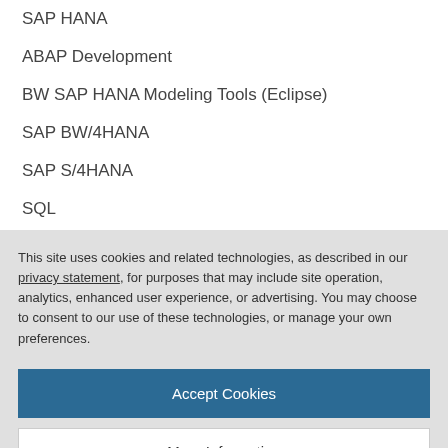SAP HANA
ABAP Development
BW SAP HANA Modeling Tools (Eclipse)
SAP BW/4HANA
SAP S/4HANA
SQL
stored procedures
This site uses cookies and related technologies, as described in our privacy statement, for purposes that may include site operation, analytics, enhanced user experience, or advertising. You may choose to consent to our use of these technologies, or manage your own preferences.
Accept Cookies
More Information
Privacy Policy | Powered by: TrustArc